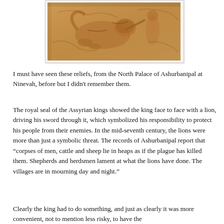[Figure (photo): An ancient Assyrian stone relief carving showing a lion hunt scene, in warm brownish-tan tones, partially visible at top of page.]
I must have seen these reliefs, from the North Palace of Ashurbanipal at Ninevah, before but I didn't remember them.
The royal seal of the Assyrian kings showed the king face to face with a lion, driving his sword through it, which symbolized his responsibility to protect his people from their enemies. In the mid-seventh century, the lions were more than just a symbolic threat. The records of Ashurbanipal report that “corpses of men, cattle and sheep lie in heaps as if the plague has killed them. Shepherds and herdsmen lament at what the lions have done. The villages are in mourning day and night.”
Clearly the king had to do something, and just as clearly it was more convenient, not to mention less risky, to have the